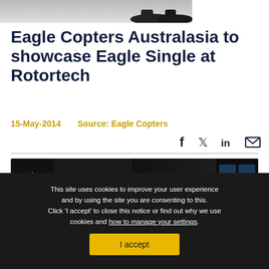[Figure (photo): Partial photo strip showing shoes/feet at bottom, grey background]
Eagle Copters Australasia to showcase Eagle Single at Rotortech
15-May-2014    Source: Eagle Copters
[Figure (other): Social media icons: Facebook, Twitter, LinkedIn, Email]
[Figure (other): Hill HX50 helicopter advertisement banner showing helicopter and cockpit on dark background]
This site uses cookies to improve your user experience and by using the site you are consenting to this. Click 'I accept' to close this notice or find out why we use cookies and how to manage your settings.
I accept